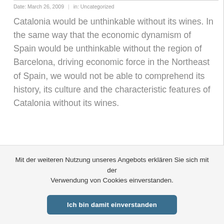Date: March 26, 2009 | in: Uncategorized
Catalonia would be unthinkable without its wines. In the same way that the economic dynamism of Spain would be unthinkable without the region of Barcelona, driving economic force in the Northeast of Spain, we would not be able to comprehend its history, its culture and the characteristic features of Catalonia without its wines.
Mit der weiteren Nutzung unseres Angebots erklären Sie sich mit der Verwendung von Cookies einverstanden.
Ich bin damit einverstanden